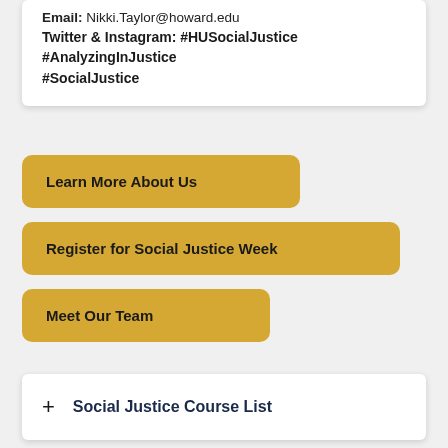Email: Nikki.Taylor@howard.edu
Twitter & Instagram: #HUSocialJustice
#AnalyzingInJustice
#SocialJustice
Learn More About Us
Register for Social Justice Week
Meet Our Team
+ Social Justice Course List